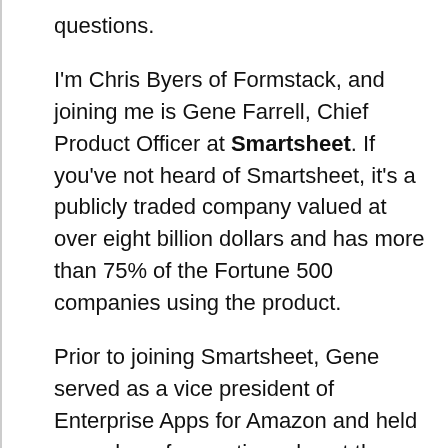questions.
I'm Chris Byers of Formstack, and joining me is Gene Farrell, Chief Product Officer at Smartsheet. If you've not heard of Smartsheet, it's a publicly traded company valued at over eight billion dollars and has more than 75% of the Fortune 500 companies using the product.
Prior to joining Smartsheet, Gene served as a vice president of Enterprise Apps for Amazon and held a number of executive roles at the Coca-Cola Company, where he founded and led the creation of the Coca-Cola Freestyle Beverage Platform, which probably most of us have used. It's been